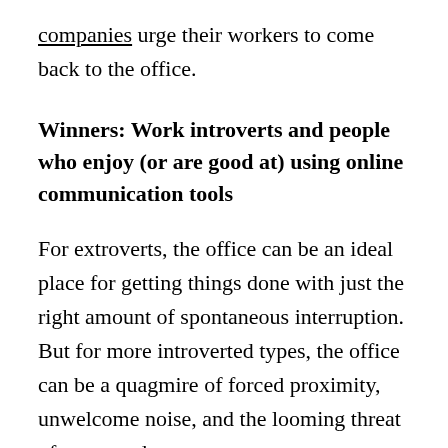companies urge their workers to come back to the office.
Winners: Work introverts and people who enjoy (or are good at) using online communication tools
For extroverts, the office can be an ideal place for getting things done with just the right amount of spontaneous interruption. But for more introverted types, the office can be a quagmire of forced proximity, unwelcome noise, and the looming threat of unwanted